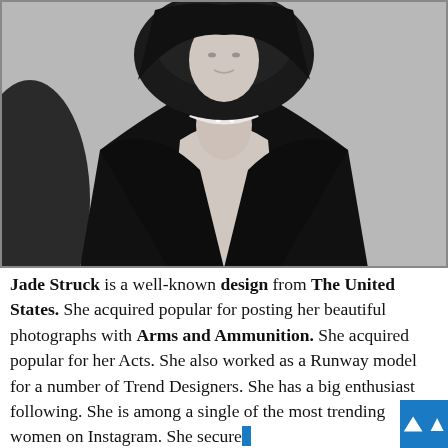[Figure (photo): Black and white fashion photograph of a woman in a dark blazer with deep neckline, wearing a diamond necklace, with her hand near her chin, seated in what appears to be a dark chair]
Jade Struck is a well-known design from The United States. She acquired popular for posting her beautiful photographs with Arms and Ammunition. She acquired popular for her Acts. She also worked as a Runway model for a number of Trend Designers. She has a big enthusiast following. She is among a single of the most trending women on Instagram. She secured contracts with a amount of well-known models. She normally